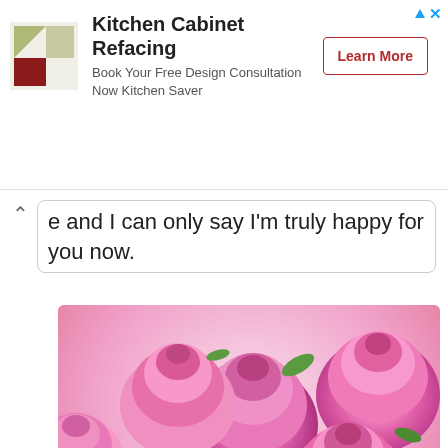[Figure (screenshot): Advertisement banner for Kitchen Cabinet Refacing by Kitchen Saver. Shows a logo with green and dark red triangles, text 'Kitchen Cabinet Refacing / Book Your Free Design Consultation Now Kitchen Saver', and a 'Learn More' button with red border.]
e and I can only say I'm truly happy for you now.
[Figure (illustration): Birthday image with pink roses in the background and bold white text with pink outline reading: 'HOPE YOU GET LOTS OF GOOD PRESENTS! NOW, WHERE IS THE CAKE? HAPPY 22ND BIRTHDAY!']